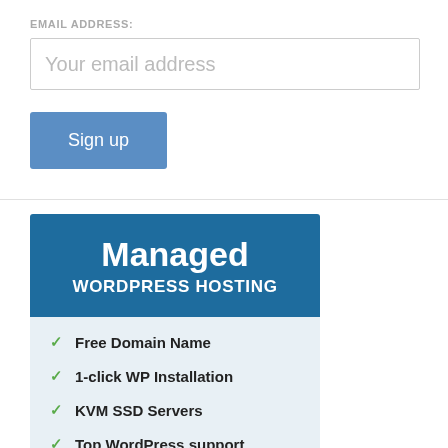EMAIL ADDRESS:
Your email address
Sign up
Managed WORDPRESS HOSTING
Free Domain Name
1-click WP Installation
KVM SSD Servers
Top WordPress support